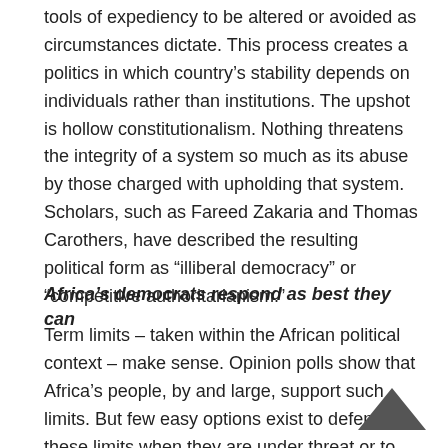tools of expediency to be altered or avoided as circumstances dictate. This process creates a politics in which country's stability depends on individuals rather than institutions. The upshot is hollow constitutionalism. Nothing threatens the integrity of a system so much as its abuse by those charged with upholding that system. Scholars, such as Fareed Zakaria and Thomas Carothers, have described the resulting political form as “illiberal democracy” or “competitive authoritarianism.”
Africa’s democrats respond as best they can
Term limits – taken within the African political context – make sense. Opinion polls show that Africa’s people, by and large, support such limits. But few easy options exist to defend these limits when they are under threat or to introduce them where term limits are not